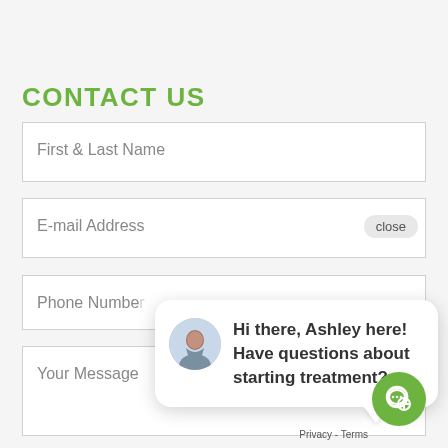CONTACT US
First & Last Name
E-mail Address
close
Phone Number
Your Message
[Figure (screenshot): Chat popup with avatar photo of Ashley and message: Hi there, Ashley here! Have questions about starting treatment?]
[Figure (other): Green circular chat icon button]
Privacy - Terms